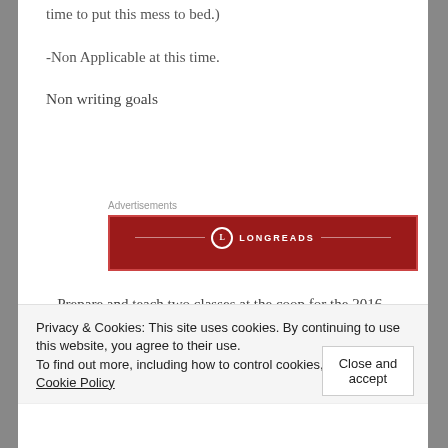time to put this mess to bed.)
-Non Applicable at this time.
Non writing goals
[Figure (other): Longreads advertisement banner with red background and white logo text]
– Prepare and teach two classes at the coop for the 2016-2017 school year.
Privacy & Cookies: This site uses cookies. By continuing to use this website, you agree to their use.
To find out more, including how to control cookies, see here: Cookie Policy
Close and accept